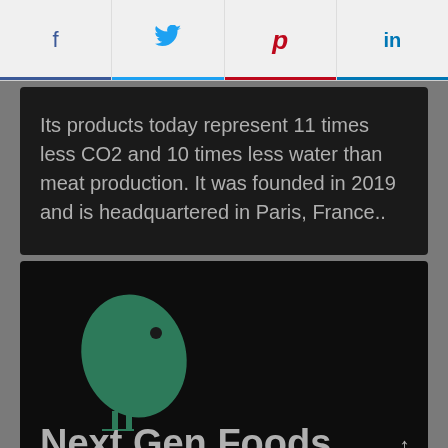f  (twitter bird)  p  in
Its products today represent 11 times less CO2 and 10 times less water than meat production. It was founded in 2019 and is headquartered in Paris, France..
[Figure (logo): Next Gen Foods logo: a green bird shape on a black background with the text 'Next Gen Foods' below]